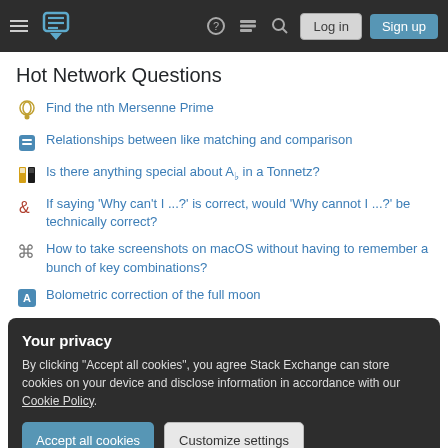Stack Exchange navigation bar with Log in and Sign up buttons
Hot Network Questions
Find the nth Mersenne Prime
Relationships between like matching and comparison
Is there anything special about A♭ in a Tonnetz?
If saying 'Why can't I ...?' is correct, would 'Why cannot I ...?' be technically correct?
How to take screenshots on macOS without having to remember a bunch of key combinations?
Bolometric correction of the full moon
Your privacy
By clicking "Accept all cookies", you agree Stack Exchange can store cookies on your device and disclose information in accordance with our Cookie Policy.
Accept all cookies | Customize settings